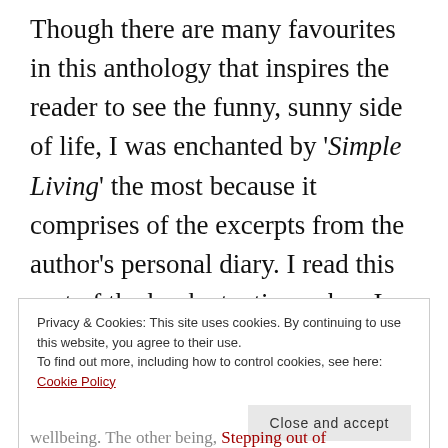Though there are many favourites in this anthology that inspires the reader to see the funny, sunny side of life, I was enchanted by 'Simple Living' the most because it comprises of the excerpts from the author's personal diary. I read this part of the book at a time when I had started doubting the relevance of writing a journal when I already have a personal blog to do so.
Privacy & Cookies: This site uses cookies. By continuing to use this website, you agree to their use.
To find out more, including how to control cookies, see here: Cookie Policy
Close and accept
wellbeing. The other being, Stepping out of